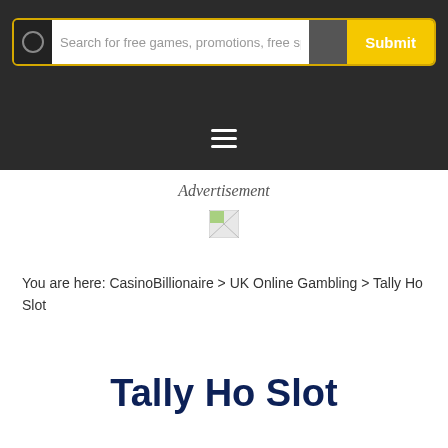Search for free games, promotions, free spins &  Submit
[Figure (infographic): Hamburger menu icon (three horizontal white lines) on dark background]
Advertisement
[Figure (other): Small broken/placeholder image icon]
You are here: CasinoBillionaire > UK Online Gambling > Tally Ho Slot
Tally Ho Slot